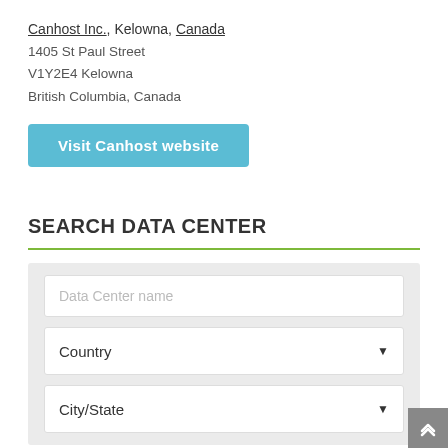Canhost Inc., Kelowna, Canada
1405 St Paul Street
V1Y2E4 Kelowna
British Columbia, Canada
Visit Canhost website
SEARCH DATA CENTER
Data Center name
Country
City/State